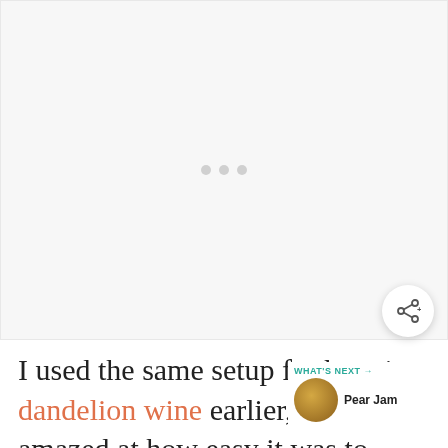[Figure (other): Advertisement placeholder area with light gray background and three gray loading dots in the center]
I used the same setup for brewing dandelion wine earlier, and I was amazed at how easy it was to clean the